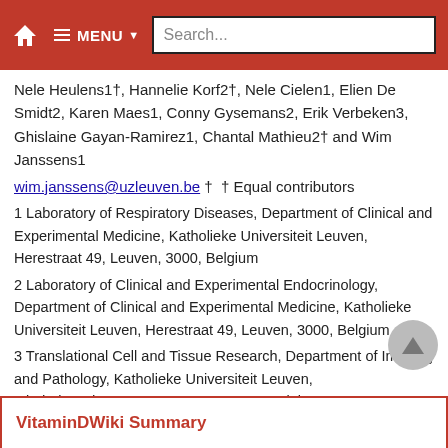MENU Search...
Nele Heulens1†, Hannelie Korf2†, Nele Cielen1, Elien De Smidt2, Karen Maes1, Conny Gysemans2, Erik Verbeken3, Ghislaine Gayan-Ramirez1, Chantal Mathieu2† and Wim Janssens1
wim.janssens@uzleuven.be †  † Equal contributors
1 Laboratory of Respiratory Diseases, Department of Clinical and Experimental Medicine, Katholieke Universiteit Leuven, Herestraat 49, Leuven, 3000, Belgium
2 Laboratory of Clinical and Experimental Endocrinology, Department of Clinical and Experimental Medicine, Katholieke Universiteit Leuven, Herestraat 49, Leuven, 3000, Belgium
3 Translational Cell and Tissue Research, Department of Imaging and Pathology, Katholieke Universiteit Leuven, Minderbroederstraat 12, Leuven, 3000, Belgium
VitaminDWiki Summary